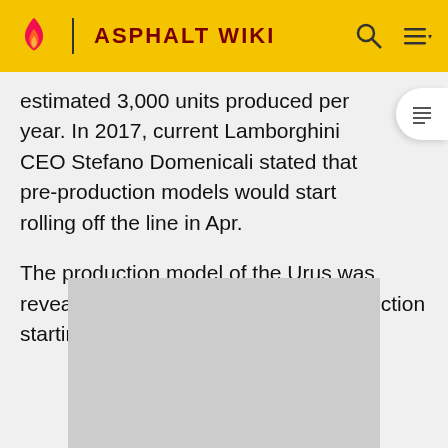ASPHALT WIKI
estimated 3,000 units produced per year. In 2017, current Lamborghini CEO Stefano Domenicali stated that pre-production models would start rolling off the line in Apr.
The production model of the Urus was revealed in December 2017 with production starting in 2018[2].
[Figure (photo): Gray placeholder image box]